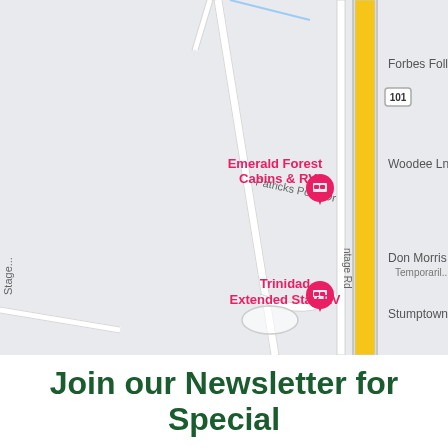[Figure (map): Google Maps screenshot showing the area around Emerald Forest Cabins & RV and Trinidad Extended Stay RV, with Patricks Point Dr running diagonally, Highway 101 on the right side, and labels for Forbes Folly, Woodee Ln, Don Morris Bow (Temporarily), Frontage Rd, Stumptown R, and Stage road on the left edge.]
Join our Newsletter for Special